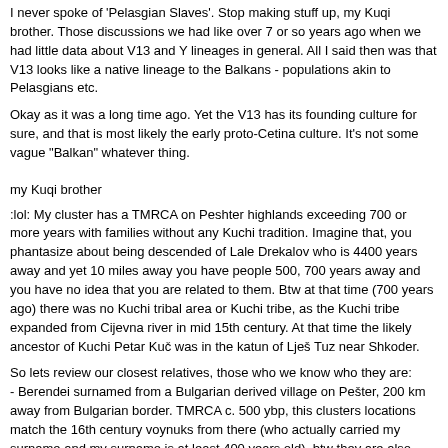I never spoke of 'Pelasgian Slaves'. Stop making stuff up, my Kuqi brother. Those discussions we had like over 7 or so years ago when we had little data about V13 and Y lineages in general. All I said then was that V13 looks like a native lineage to the Balkans - populations akin to Pelasgians etc.
Okay as it was a long time ago. Yet the V13 has its founding culture for sure, and that is most likely the early proto-Cetina culture. It's not some vague "Balkan" whatever thing.
my Kuqi brother
:lol: My cluster has a TMRCA on Peshter highlands exceeding 700 or more years with families without any Kuchi tradition. Imagine that, you phantasize about being descended of Lale Drekalov who is 4400 years away and yet 10 miles away you have people 500, 700 years away and you have no idea that you are related to them. Btw at that time (700 years ago) there was no Kuchi tribal area or Kuchi tribe, as the Kuchi tribe expanded from Cijevna river in mid 15th century. At that time the likely ancestor of Kuchi Petar Kuč was in the katun of Lješ Tuz near Shkoder.
So lets review our closest relatives, those who we know who they are:
- Berendei surnamed from a Bulgarian derived village on Pešter, 200 km away from Bulgarian border. TMRCA c. 500 ybp, this clusters locations match the 16th century voynuks from there (who actually carried my surname and my surname is at least 400 years old). btw they are also connected to two other Bulgarian/Berendei derived villages (it seems actually both are Turkic) there via their unique surname. Also match an Ottoman family locations who held my native village, who were connected to them. An explanation how my family was wealthy and was able to settle there. The progenitor of these voynuks carried a Kipchak name of C.Asian Iranian origins.
- from another Bulgarian derived village on Pešter, 200 km away from Bulgarian border. TMRCA c. 700-800 ybp, right next to a Kipchak named mountain
- Pečenjevce, near Leskovac , TMRCA c. 800-1000 ybp , origin unknown in